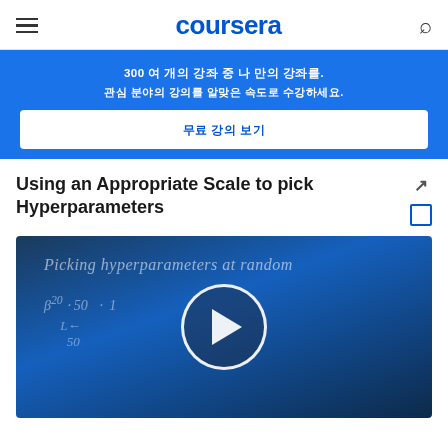coursera
300 여 개의 강좌 중 나 만의 강좌를. 관심 분야의 강의를 알맞은 속도로 수강하세요.
무료 강의 보기
Using an Appropriate Scale to pick Hyperparameters
[Figure (screenshot): Video thumbnail showing 'Picking hyperparameters at random' with mathematical formulas on a dark blue background, with a play button circle in the center]